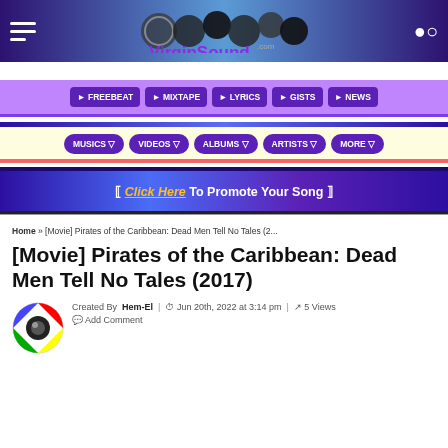VirginSound.com — hamburger menu and search icon
FREEBEAT | MIXTAPE | LYRICS | GISTS | NEWS
MUSICS | VIDEOS | ALBUMS | ARTISTS | MORE
⟦ Click Here To Promote Your Song ⟧
Home » [Movie] Pirates of the Caribbean: Dead Men Tell No Tales (2...
[Movie] Pirates of the Caribbean: Dead Men Tell No Tales (2017)
Created By Hem-El | Jun 20th, 2022 at 3:14 pm | 5 Views
Add Comment